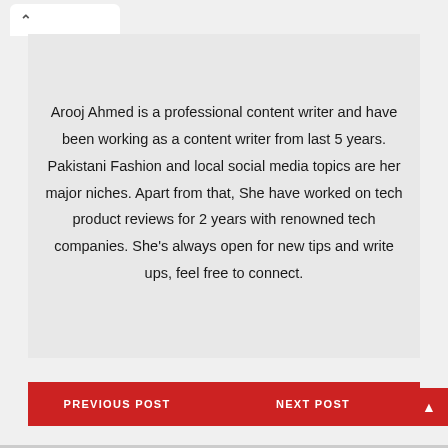Arooj Ahmed is a professional content writer and have been working as a content writer from last 5 years. Pakistani Fashion and local social media topics are her major niches. Apart from that, She have worked on tech product reviews for 2 years with renowned tech companies. She's always open for new tips and write ups, feel free to connect.
PREVIOUS POST
NEXT POST